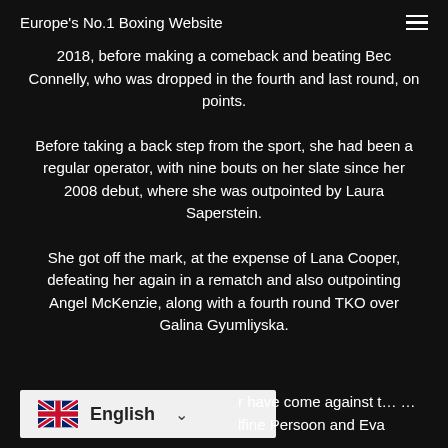Europe's No.1 Boxing Website
2018, before making a comeback and beating Bec Connelly, who was dropped in the fourth and last round, on points.
Before taking a back step from the sport, she had been a regular operator, with nine bouts on her slate since her 2008 debut, where she was outpointed by Laura Saperstein.
She got off the mark, at the expense of Lana Cooper, defeating her again in a rematch and also outpointing Angel McKenzie, along with a fourth round TKO over Galina Gyumliyska.
...er have come against t... ...lfine Persoon and Eva